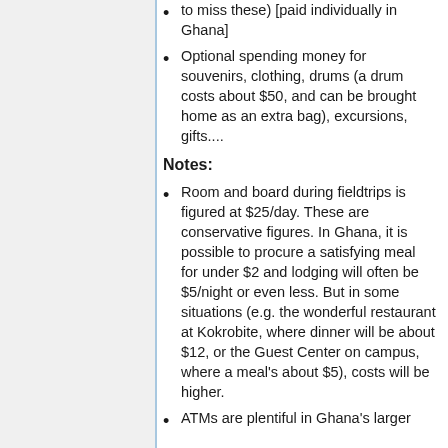to miss these) [paid individually in Ghana]
Optional spending money for souvenirs, clothing, drums (a drum costs about $50, and can be brought home as an extra bag), excursions, gifts....
Notes:
Room and board during fieldtrips is figured at $25/day. These are conservative figures. In Ghana, it is possible to procure a satisfying meal for under $2 and lodging will often be $5/night or even less. But in some situations (e.g. the wonderful restaurant at Kokrobite, where dinner will be about $12, or the Guest Center on campus, where a meal's about $5), costs will be higher.
ATMs are plentiful in Ghana's larger